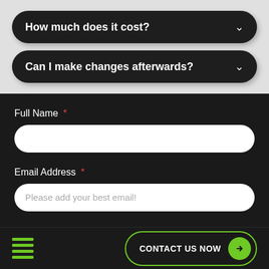How much does it cost?
Can I make changes afterwards?
Full Name *
Email Address *
Please add your best email!
Phone Number *
CONTACT US NOW